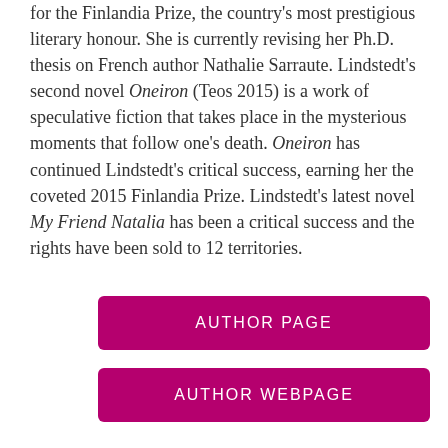for the Finlandia Prize, the country's most prestigious literary honour. She is currently revising her Ph.D. thesis on French author Nathalie Sarraute. Lindstedt's second novel Oneiron (Teos 2015) is a work of speculative fiction that takes place in the mysterious moments that follow one's death. Oneiron has continued Lindstedt's critical success, earning her the coveted 2015 Finlandia Prize. Lindstedt's latest novel My Friend Natalia has been a critical success and the rights have been sold to 12 territories.
AUTHOR PAGE
AUTHOR WEBPAGE